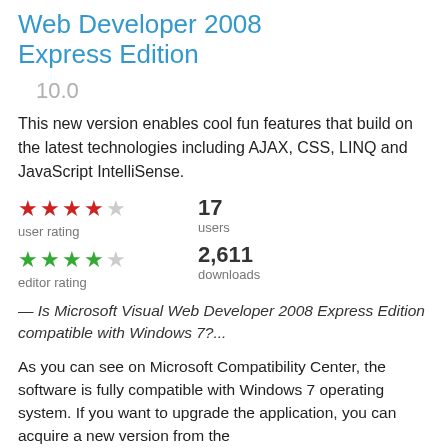Web Developer 2008 Express Edition
10.0
This new version enables cool fun features that build on the latest technologies including AJAX, CSS, LINQ and JavaScript IntelliSense.
user rating: 4/5 stars, 17 users; editor rating: 4/5 stars, 2,611 downloads
— Is Microsoft Visual Web Developer 2008 Express Edition compatible with Windows 7?...
As you can see on Microsoft Compatibility Center, the software is fully compatible with Windows 7 operating system. If you want to upgrade the application, you can acquire a new version from the